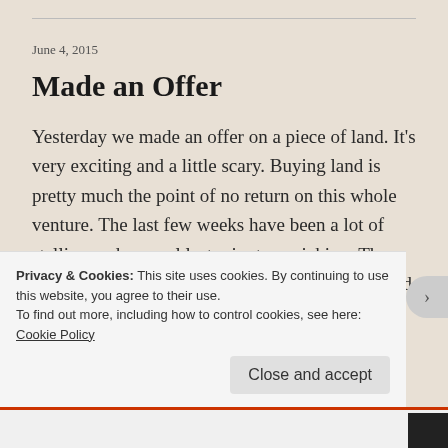June 4, 2015
Made an Offer
Yesterday we made an offer on a piece of land. It's very exciting and a little scary. Buying land is pretty much the point of no return on this whole venture. The last few weeks have been a lot of stalling and general last minute panicking. The offer process was pretty easy and mostly involved signing … Continue reading
Privacy & Cookies: This site uses cookies. By continuing to use this website, you agree to their use.
To find out more, including how to control cookies, see here: Cookie Policy
Close and accept